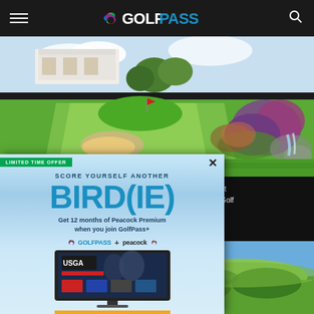GOLFPASS
[Figure (photo): Aerial view of a lush green golf course with manicured fairway, flowering shrubs and a waterfall feature on the right side]
dations at Park Hyatt ds of golf at Aviara Golf
[Figure (photo): GolfPass promotional popup overlay with LIMITED TIME OFFER badge: SCORE YOURSELF ANOTHER BIRD(IE) - Get 12 months of Peacock Premium when you join GolfPass+ - GolfPass + peacock logos - TV screen showing USGA content - JOIN NOW button - $4.99/mo. w/o. ad. Eligibility restrictions and terms apply.]
[Figure (photo): Bottom right partial photo showing green landscape with blue sky in background]